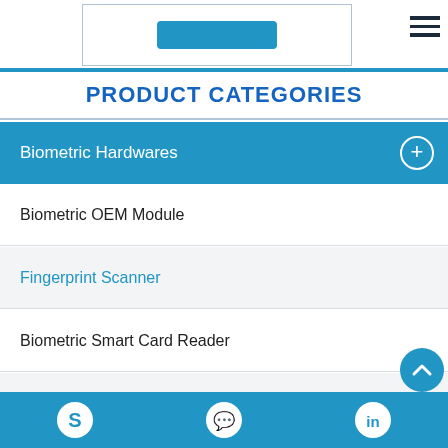[Figure (screenshot): Top navigation area with logo/button box and hamburger menu icon]
PRODUCT CATEGORIES
Biometric Hardwares
Biometric OEM Module
Fingerprint Scanner
Biometric Smart Card Reader
Biometric Terminal
Secure Biometric Devices
Skype | WhatsApp | LinkedIn